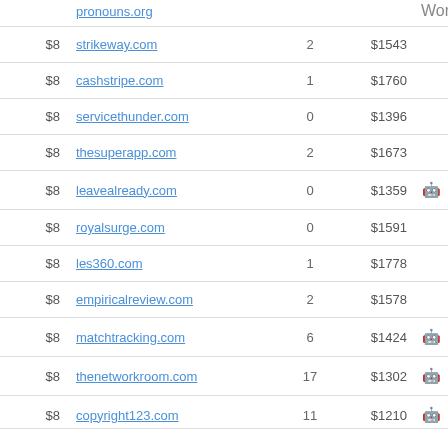| Price | Domain | Bids | Value |  |
| --- | --- | --- | --- | --- |
| $8 | pronouns.org |  |  | Wor… |
| $8 | strikeway.com | 2 | $1543 |  |
| $8 | cashstripe.com | 1 | $1760 |  |
| $8 | servicethunder.com | 0 | $1396 |  |
| $8 | thesuperapp.com | 2 | $1673 |  |
| $8 | leavealready.com | 0 | $1359 | 🤖 |
| $8 | royalsurge.com | 0 | $1591 |  |
| $8 | les360.com | 1 | $1778 |  |
| $8 | empiricalreview.com | 2 | $1578 |  |
| $8 | matchtracking.com | 6 | $1424 | 🤖 |
| $8 | thenetworkroom.com | 17 | $1302 | 🤖 |
| $8 | copyright123.com | 11 | $1210 | 🤖 |